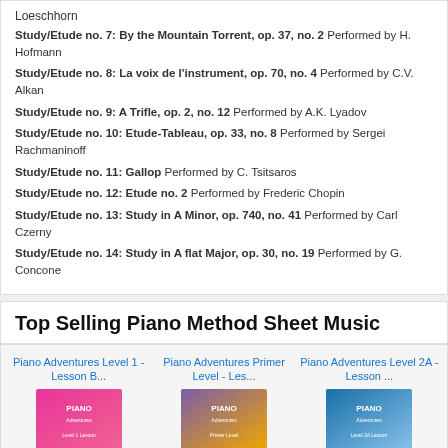Loeschhorn
Study/Etude no. 7: By the Mountain Torrent, op. 37, no. 2  Performed by H. Hofmann
Study/Etude no. 8: La voix de l'instrument, op. 70, no. 4  Performed by C.V. Alkan
Study/Etude no. 9: A Trifle, op. 2, no. 12  Performed by A.K. Lyadov
Study/Etude no. 10: Etude-Tableau, op. 33, no. 8  Performed by Sergei Rachmaninoff
Study/Etude no. 11: Gallop  Performed by C. Tsitsaros
Study/Etude no. 12: Etude no. 2  Performed by Frederic Chopin
Study/Etude no. 13: Study in A Minor, op. 740, no. 41  Performed by Carl Czerny
Study/Etude no. 14: Study in A flat Major, op. 30, no. 19  Performed by G. Concone
Top Selling Piano Method Sheet Music
Piano Adventures Level 1 - Lesson B...
Piano Adventures Primer Level - Les...
Piano Adventures Level 2A - Lesson ...
[Figure (photo): Three Piano Adventures sheet music book covers shown side by side]